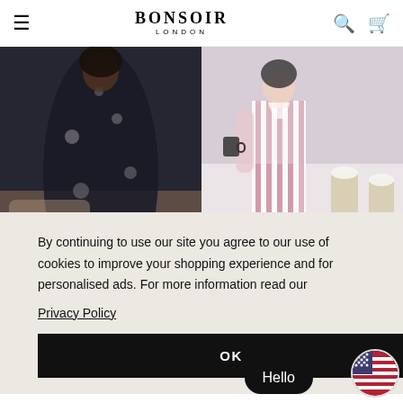Bonsoir London — navigation header with hamburger menu, logo, search and cart icons
[Figure (photo): Left: woman in dark floral robe sitting on bed; top-right: woman in pink striped pajamas holding mug in kitchen; bottom-right: partial view of cozy bedroom/living area]
By continuing to use our site you agree to our use of cookies to improve your shopping experience and for personalised ads. For more information read our
Privacy Policy
OK
Hello